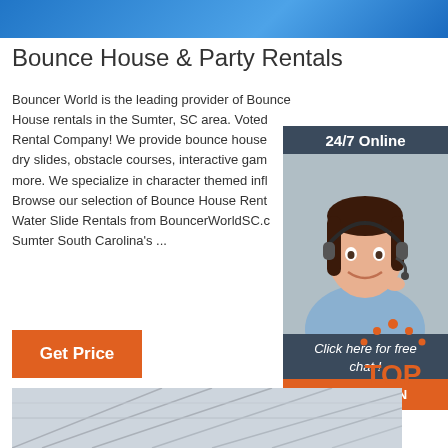[Figure (illustration): Blue gradient banner at top of page]
Bounce House & Party Rentals
Bouncer World is the leading provider of Bounce House rentals in the Sumter, SC area. Voted Rental Company! We provide bounce house dry slides, obstacle courses, interactive gam more. We specialize in character themed infl Browse our selection of Bounce House Rent Water Slide Rentals from BouncerWorldSC.c Sumter South Carolina's ...
[Figure (photo): Ad widget showing woman with headset, dark header '24/7 Online', footer text 'Click here for free chat!', orange QUOTATION button]
[Figure (illustration): Orange Get Price button]
[Figure (logo): TOP logo with orange dots arc above orange TOP text]
[Figure (photo): Bottom strip showing structural ceiling/roof image]